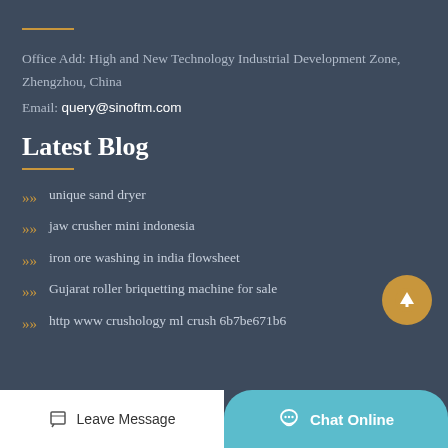Office Add: High and New Technology Industrial Development Zone, Zhengzhou, China
Email: query@sinoftm.com
Latest Blog
unique sand dryer
jaw crusher mini indonesia
iron ore washing in india flowsheet
Gujarat roller briquetting machine for sale
http www crushology ml crush 6b7be671b6
Leave Message  Chat Online